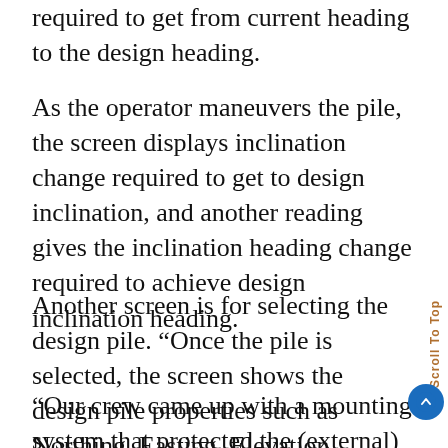required to get from current heading to the design heading.
As the operator maneuvers the pile, the screen displays inclination change required to get to design inclination, and another reading gives the inclination heading change required to achieve design inclination heading.
Another screen is for selecting the design pile. “Once the pile is selected, the screen shows the design pile properties such as Northing, Easting, Elevation, Length, and Inclination,” explained Keys.
“Our crew came up with a mounting system that protected the (external) equipment,